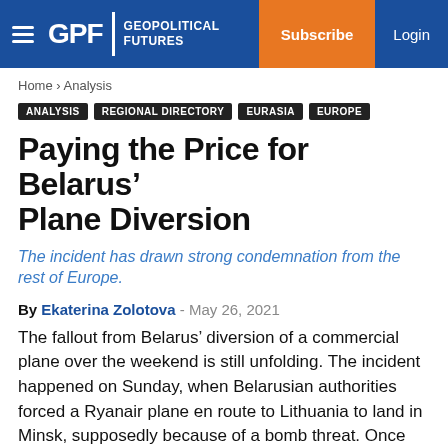GPF | GEOPOLITICAL FUTURES — Subscribe | Login
Home › Analysis
ANALYSIS
REGIONAL DIRECTORY
EURASIA
EUROPE
Paying the Price for Belarus' Plane Diversion
The incident has drawn strong condemnation from the rest of Europe.
By Ekaterina Zolotova - May 26, 2021
The fallout from Belarus' diversion of a commercial plane over the weekend is still unfolding. The incident happened on Sunday, when Belarusian authorities forced a Ryanair plane en route to Lithuania to land in Minsk, supposedly because of a bomb threat. Once the plane landed, they arrested